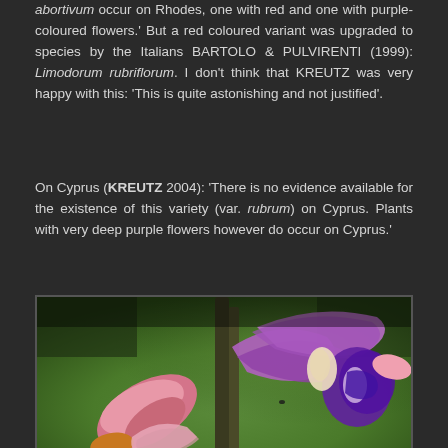abortivum occur on Rhodes, one with red and one with purple-coloured flowers.' But a red coloured variant was upgraded to species by the Italians BARTOLO & PULVIRENTI (1999): Limodorum rubriflorum. I don't think that KREUTZ was very happy with this: 'This is quite astonishing and not justified'.
On Cyprus (KREUTZ 2004): 'There is no evidence available for the existence of this variety (var. rubrum) on Cyprus. Plants with very deep purple flowers however do occur on Cyprus.'
[Figure (photo): Close-up photograph of purple and pink Limodorum orchid flowers against a blurred green background]